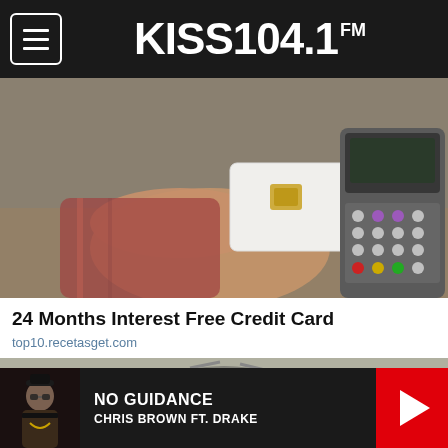KISS 104.1 FM
[Figure (photo): Hand holding a chip credit card near a payment terminal/card reader]
24 Months Interest Free Credit Card
top10.recetasget.com
[Figure (photo): Partial view of another article image at the bottom]
NO GUIDANCE
CHRIS BROWN FT. DRAKE